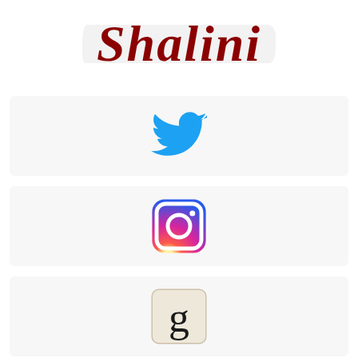Shalini
[Figure (logo): Twitter bird logo in blue]
[Figure (logo): Instagram gradient camera icon logo]
[Figure (logo): Goodreads 'g' letter tile logo on beige square with rounded corners]